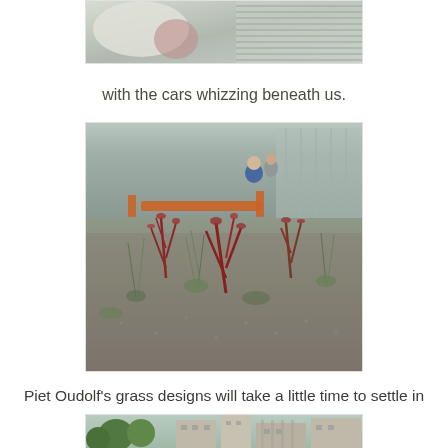[Figure (photo): Top portion of a photo showing blurry shapes and window blinds in the background]
with the cars whizzing beneath us.
[Figure (photo): Photo of Piet Oudolf grass and plant designs on what appears to be a rooftop or elevated garden, with gravel, red-stemmed plants, and wispy grasses. People and orange construction barriers visible in background.]
Piet Oudolf's grass designs will take a little time to settle in
[Figure (photo): Bottom portion of a photo showing urban buildings and trees]